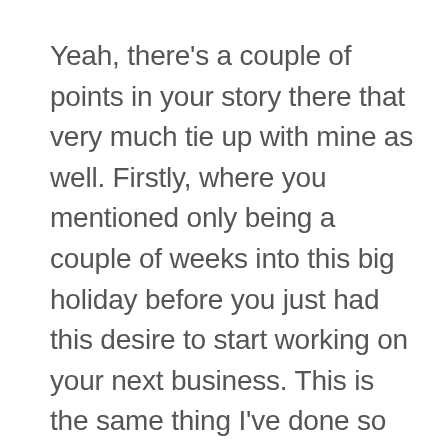Yeah, there's a couple of points in your story there that very much tie up with mine as well. Firstly, where you mentioned only being a couple of weeks into this big holiday before you just had this desire to start working on your next business. This is the same thing I've done so many times, as well as that keen interest in that MNA space. Which as we spoke about on your podcast, I did a bunch of acquisitions over the previous 12 months in the web hosting industry, and I really enjoyed nerding out about all